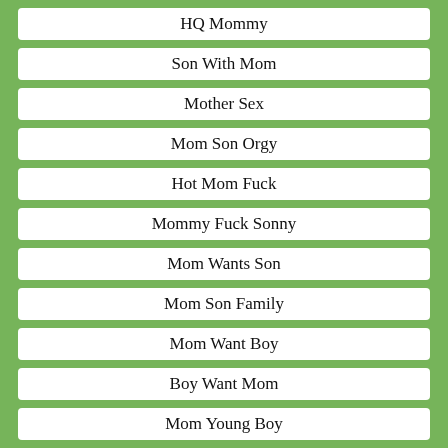HQ Mommy
Son With Mom
Mother Sex
Mom Son Orgy
Hot Mom Fuck
Mommy Fuck Sonny
Mom Wants Son
Mom Son Family
Mom Want Boy
Boy Want Mom
Mom Young Boy
Granny Creampie